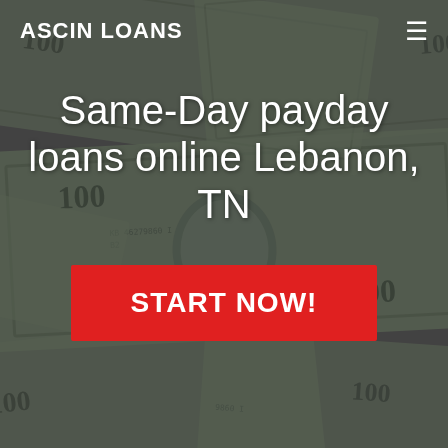[Figure (photo): Background photo of overlapping US $100 dollar bills in greyscale/dark overlay]
ASCIN LOANS
Same-Day payday loans online Lebanon, TN
START NOW!